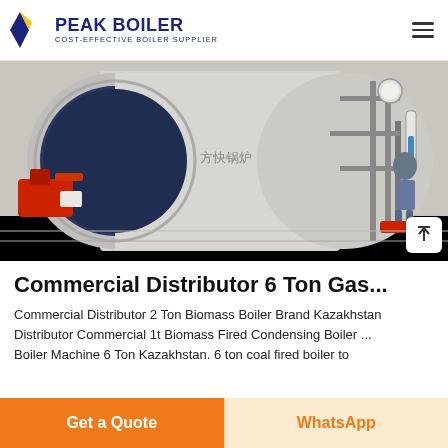PEAK BOILER — COST-EFFECTIVE BOILER SUPPLIER
[Figure (photo): Industrial horizontal gas-fired boiler with Chinese branding text, red burner assembly on left, pipes and gauges on right, worker visible in background]
Commercial Distributor 6 Ton Gas...
Commercial Distributor 2 Ton Biomass Boiler Brand Kazakhstan Distributor Commercial 1t Biomass Fired Condensing Boiler ... Boiler Machine 6 Ton Kazakhstan. 6 ton coal fired boiler to
Get a Quote
WhatsApp